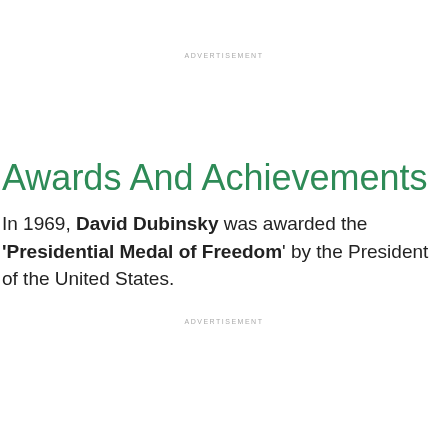ADVERTISEMENT
Awards And Achievements
In 1969, David Dubinsky was awarded the ‘Presidential Medal of Freedom’ by the President of the United States.
ADVERTISEMENT